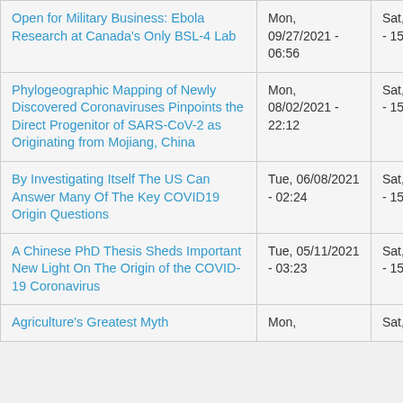| Title | Created | Last updated |
| --- | --- | --- |
| Open for Military Business: Ebola Research at Canada's Only BSL-4 Lab | Mon, 09/27/2021 - 06:56 | Sat, 03/19/2022 - 15:20 |
| Phylogeographic Mapping of Newly Discovered Coronaviruses Pinpoints the Direct Progenitor of SARS-CoV-2 as Originating from Mojiang, China | Mon, 08/02/2021 - 22:12 | Sat, 03/19/2022 - 15:20 |
| By Investigating Itself The US Can Answer Many Of The Key COVID19 Origin Questions | Tue, 06/08/2021 - 02:24 | Sat, 03/19/2022 - 15:20 |
| A Chinese PhD Thesis Sheds Important New Light On The Origin of the COVID-19 Coronavirus | Tue, 05/11/2021 - 03:23 | Sat, 03/19/2022 - 15:20 |
| Agriculture's Greatest Myth | Mon, | Sat, |